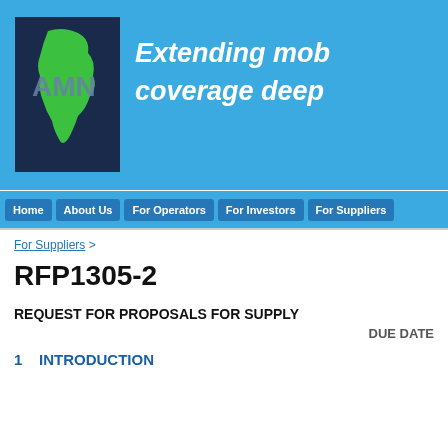[Figure (logo): AMN logo — dark navy square with green Africa silhouette and 'AMN' text in grey-blue letters]
Extending mob coverage deep
[Figure (infographic): Navigation bar with buttons: Home, About Us, For Operators, For Investors, For Suppliers]
For Suppliers >
RFP1305-2
REQUEST FOR PROPOSALS FOR SUPPLY
DUE DATE
1   INTRODUCTION